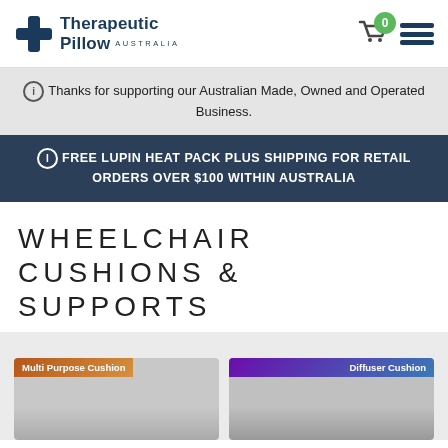[Figure (logo): Therapeutic Pillow Australia logo with cross icon]
Thanks for supporting our Australian Made, Owned and Operated Business.
FREE LUPIN HEAT PACK PLUS SHIPPING FOR RETAIL ORDERS OVER $100 WITHIN AUSTRALIA
WHEELCHAIR CUSHIONS & SUPPORTS
[Figure (photo): Multi Purpose Cushion product image]
[Figure (photo): Diffuser Cushion product image]